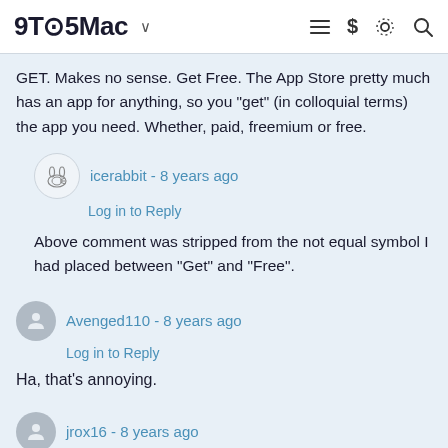9TO5Mac
GET. Makes no sense. Get Free. The App Store pretty much has an app for anything, so you "get" (in colloquial terms) the app you need. Whether, paid, freemium or free.
icerabbit - 8 years ago
Log in to Reply
Above comment was stripped from the not equal symbol I had placed between "Get" and "Free".
Avenged110 - 8 years ago
Log in to Reply
Ha, that's annoying.
jrox16 - 8 years ago
Log in to Reply